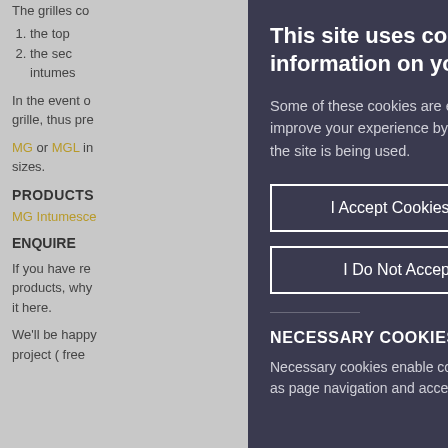The grilles co
1. the top
2. the sec intumes
In the event o grille, thus pre
MG or MGL in sizes.
PRODUCTS
MG Intumesce
ENQUIRE
If you have re products, why it here.
We'll be happy project ( free
This site uses cookies to store information on your computer.
Some of these cookies are essential, while o help us to improve your experience by provid insights into how the site is being used.
I Accept Cookies
I Do Not Accept Cookies
NECESSARY COOKIES
Necessary cookies enable core functi as page navigation and access to